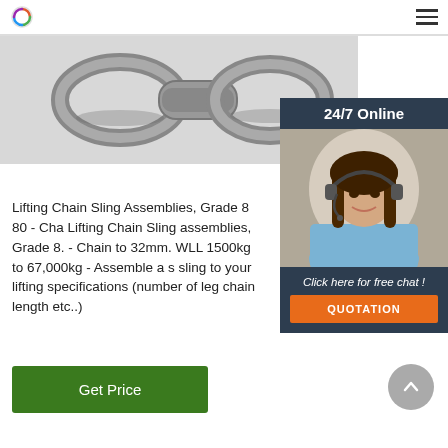Logo and navigation menu
[Figure (photo): Close-up photo of a metal chain sling assembly component, showing grey metallic links]
[Figure (infographic): 24/7 Online chat widget with photo of a woman wearing a headset, with 'Click here for free chat!' text and an orange QUOTATION button]
Lifting Chain Sling Assemblies, Grade 8 80 - Cha Lifting Chain Sling assemblies, Grade 8. - Chain to 32mm. WLL 1500kg to 67,000kg - Assemble a s sling to your lifting specifications (number of leg chain length etc..)
Get Price